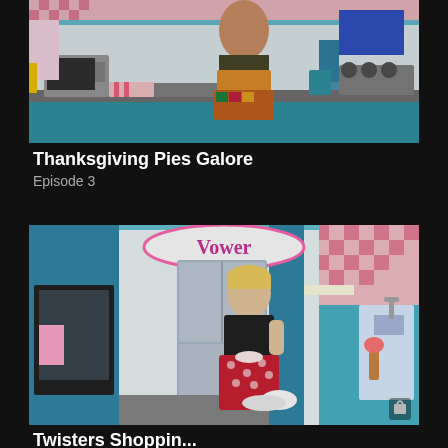[Figure (photo): A woman in a colorful floral apron standing at a retro-style kitchen counter with a microwave, baking tray, and colorful decor. Pink and blue tiled kitchen background.]
Thanksgiving Pies Galore
Episode 3
[Figure (photo): A woman in a black top and red polka-dot apron smiling and leaning on a kitchen counter in a retro pink and blue kitchen with a 'Power' sign visible in the background.]
Twisters Shoppin...